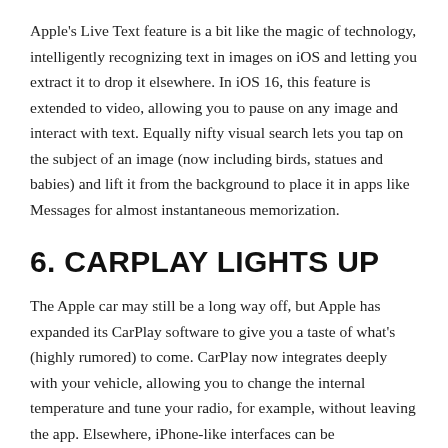Apple's Live Text feature is a bit like the magic of technology, intelligently recognizing text in images on iOS and letting you extract it to drop it elsewhere. In iOS 16, this feature is extended to video, allowing you to pause on any image and interact with text. Equally nifty visual search lets you tap on the subject of an image (now including birds, statues and babies) and lift it from the background to place it in apps like Messages for almost instantaneous memorization.
6. CARPLAY LIGHTS UP
The Apple car may still be a long way off, but Apple has expanded its CarPlay software to give you a taste of what's (highly rumored) to come. CarPlay now integrates deeply with your vehicle, allowing you to change the internal temperature and tune your radio, for example, without leaving the app. Elsewhere, iPhone-like interfaces can be